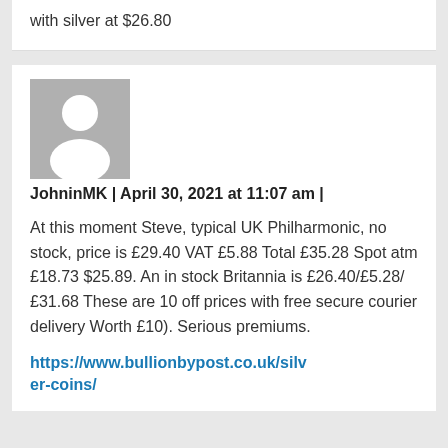with silver at $26.80
[Figure (illustration): Generic user avatar placeholder: grey square with white silhouette of a person]
JohninMK | April 30, 2021 at 11:07 am |
At this moment Steve, typical UK Philharmonic, no stock, price is £29.40 VAT £5.88 Total £35.28 Spot atm £18.73 $25.89. An in stock Britannia is £26.40/£5.28/£31.68 These are 10 off prices with free secure courier delivery Worth £10). Serious premiums.
https://www.bullionbypost.co.uk/silver-coins/